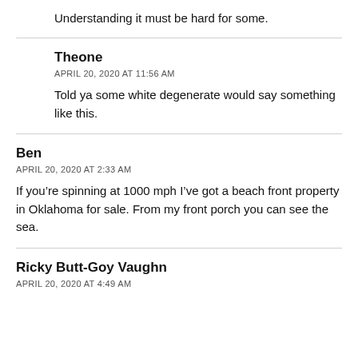Understanding it must be hard for some.
Theone
APRIL 20, 2020 AT 11:56 AM
Told ya some white degenerate would say something like this.
Ben
APRIL 20, 2020 AT 2:33 AM
If you’re spinning at 1000 mph I’ve got a beach front property in Oklahoma for sale. From my front porch you can see the sea.
Ricky Butt-Goy Vaughn
APRIL 20, 2020 AT 4:49 AM